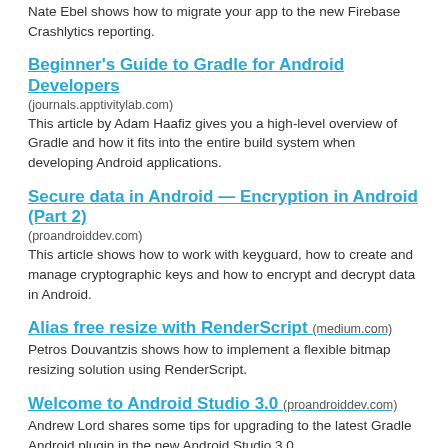Nate Ebel shows how to migrate your app to the new Firebase Crashlytics reporting.
Beginner's Guide to Gradle for Android Developers
(journals.apptivitylab.com)
This article by Adam Haafiz gives you a high-level overview of Gradle and how it fits into the entire build system when developing Android applications.
Secure data in Android — Encryption in Android (Part 2)
(proandroiddev.com)
This article shows how to work with keyguard, how to create and manage cryptographic keys and how to encrypt and decrypt data in Android.
Alias free resize with RenderScript (medium.com)
Petros Douvantzis shows how to implement a flexible bitmap resizing solution using RenderScript.
Welcome to Android Studio 3.0 (proandroiddev.com)
Andrew Lord shares some tips for upgrading to the latest Gradle Android plugin in the new Android Studio 3.0
Testing like a pro in Kotlin (blog.karumi.com)
The Karumi team published some Kotlin katas they use during training to show how applications can be tested.